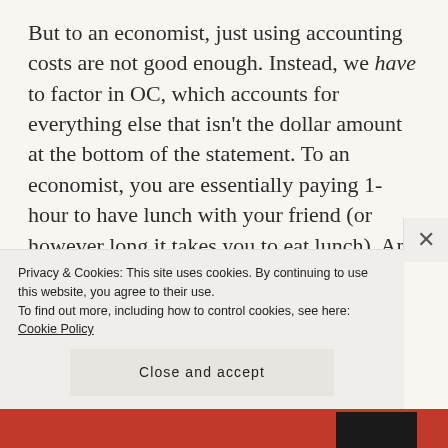But to an economist, just using accounting costs are not good enough. Instead, we have to factor in OC, which accounts for everything else that isn't the dollar amount at the bottom of the statement. To an economist, you are essentially paying 1-hour to have lunch with your friend (or however long it takes you to eat lunch). And let's say your hourly wage is $20. So, in theory, the next best alternative for you in how to spend that one hour on Friday
Privacy & Cookies: This site uses cookies. By continuing to use this website, you agree to their use.
To find out more, including how to control cookies, see here: Cookie Policy

Close and accept